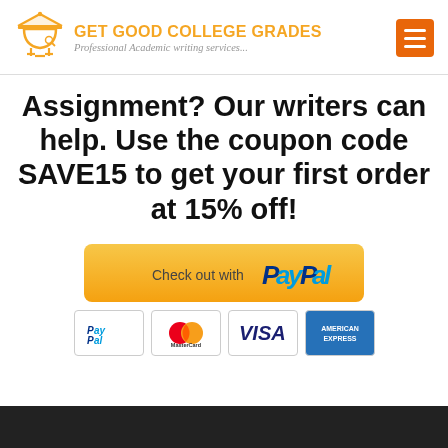GET GOOD COLLEGE GRADES — Professional Academic writing services...
Assignment? Our writers can help. Use the coupon code SAVE15 to get your first order at 15% off!
[Figure (infographic): PayPal checkout button (yellow/gold rounded rectangle) with 'Check out with PayPal' text, and four payment method icons below: PayPal, MasterCard, VISA, American Express]